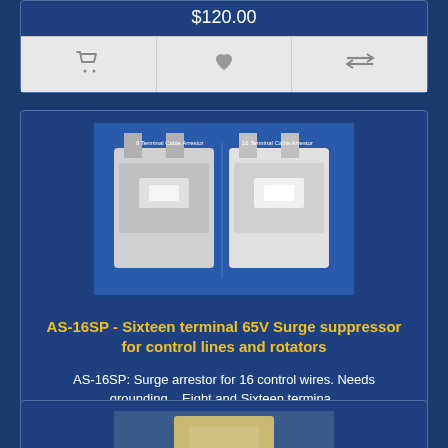$120.00
[Figure (other): Shopping cart icon, heart/wishlist icon, compare icon - action buttons]
[Figure (photo): Two white AS-16SP surge suppressor devices side by side on a blue background]
AS-16SP - Sixteen terminal 65V Surge suppressor for control lines and rotators
AS-16SP: Surge arrestor for 16 control wires. Needs grounding.   Eight and Sixteen termina..
$153.00
[Figure (other): Shopping cart icon, heart/wishlist icon, compare icon - action buttons]
[Figure (photo): Partial view of a third product image at bottom of page]